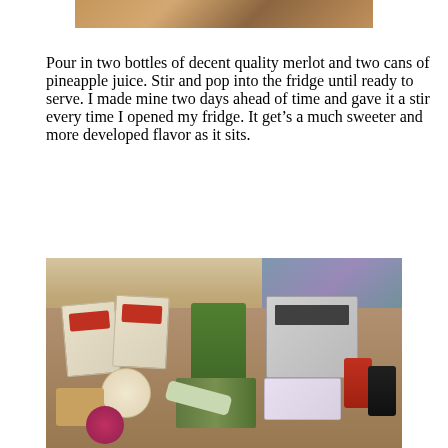[Figure (photo): Partial photo at top of page showing a food dish, cropped, only bottom portion visible.]
Pour in two bottles of decent quality merlot and two cans of pineapple juice. Stir and pop into the fridge until ready to serve. I made mine two days ahead of time and gave it a stir every time I opened my fridge. It get’s a much sweeter and more developed flavor as it sits.
[Figure (photo): Photo of various food ingredients laid out on a wooden table including two packages of Havarti cheese, a container of hummus, packages of deli meat, fresh asparagus, a red onion, a zucchini, nuts, leafy greens, butter, and spice jars.]